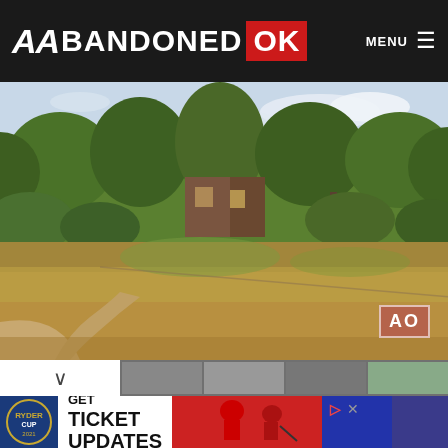ABANDONED OK — MENU
[Figure (photo): Outdoor scene showing an abandoned building partially visible behind large trees, with an overgrown grass field in the foreground and a dirt path curving to the left. Sky is partly cloudy. AO watermark in lower right corner.]
[Figure (photo): Advertisement banner: Ryder Cup logo on left, text reading GET TICKET UPDATES, golfers in red team uniforms in the center and right.]